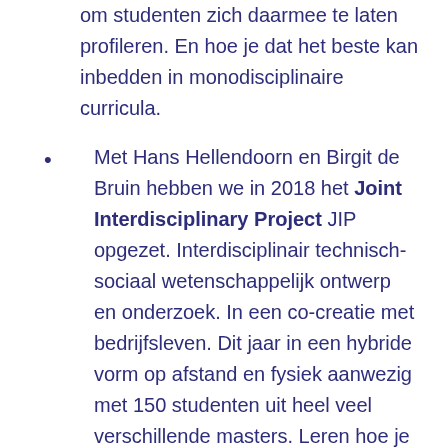om studenten zich daarmee te laten profileren. En hoe je dat het beste kan inbedden in monodisciplinaire curricula.
Met Hans Hellendoorn en Birgit de Bruin hebben we in 2018 het Joint Interdisciplinary Project JIP opgezet. Interdisciplinair technisch-sociaal wetenschappelijk ontwerp en onderzoek. In een co-creatie met bedrijfsleven. Dit jaar in een hybride vorm op afstand en fysiek aanwezig met 150 studenten uit heel veel verschillende masters. Leren hoe je moet engineeren in een echt complexe omgeving